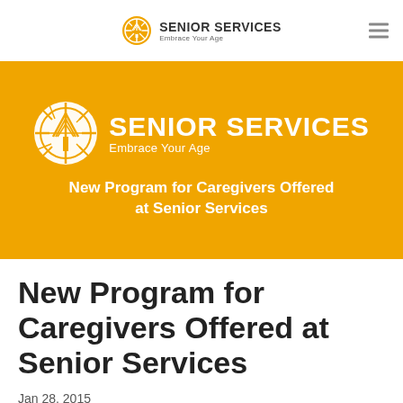SENIOR SERVICES Embrace Your Age
[Figure (logo): Senior Services logo with sunburst/tree icon and text 'SENIOR SERVICES Embrace Your Age' on orange background with headline 'New Program for Caregivers Offered at Senior Services']
New Program for Caregivers Offered at Senior Services
Jan 28, 2015